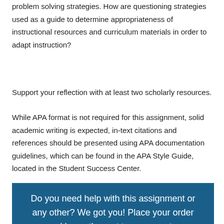problem solving strategies. How are questioning strategies used as a guide to determine appropriateness of instructional resources and curriculum materials in order to adapt instruction?
Support your reflection with at least two scholarly resources.
While APA format is not required for this assignment, solid academic writing is expected, in-text citations and references should be presented using APA documentation guidelines, which can be found in the APA Style Guide, located in the Student Success Center.
Do you need help with this assignment or any other? We got you! Place your order and leave the rest to our experts.